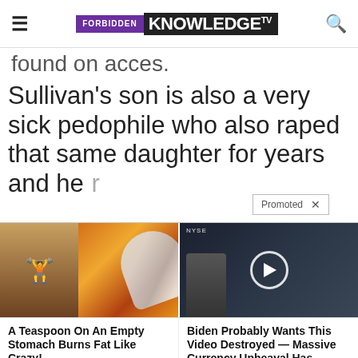[Figure (logo): Forbidden Knowledge TV logo with hamburger menu and search icon]
round on acco.
Sullivan's son is also a very sick pedophile who also raped that same daughter for years and he...r
Promoted ×
[Figure (photo): Left ad image: person with abs and spice/powder on spoon. Right ad image: man on financial news set with play button overlay.]
A Teaspoon On An Empty Stomach Burns Fat Like Crazy!
Find Out More
Biden Probably Wants This Video Destroyed — Massive Currency Upheaval Has Started
Watch The Video